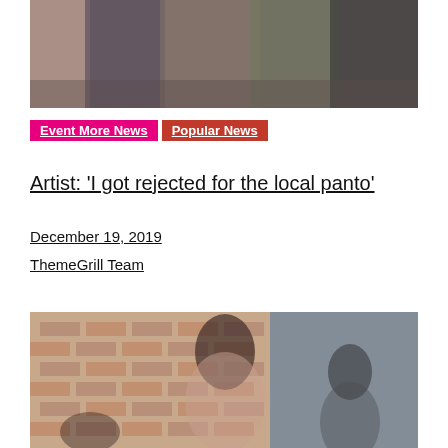[Figure (photo): Top photo of people in a group setting, partially cropped]
Event More News  Popular News
Artist: 'I got rejected for the local panto'
December 19, 2019
ThemeGrill Team
[Figure (photo): Photo of a smiling woman with dark curly hair and a man, with a brick wall background]